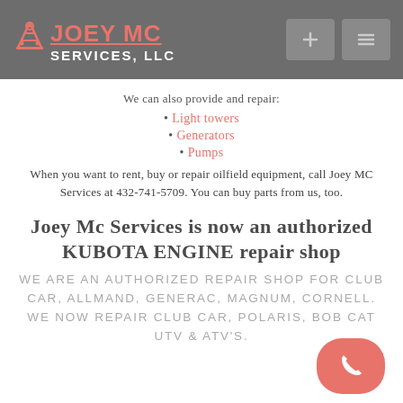JOEY MC SERVICES, LLC
We can also provide and repair:
Light towers
Generators
Pumps
When you want to rent, buy or repair oilfield equipment, call Joey MC Services at 432-741-5709. You can buy parts from us, too.
Joey Mc Services is now an authorized KUBOTA ENGINE repair shop
WE ARE AN AUTHORIZED REPAIR SHOP FOR CLUB CAR, ALLMAND, GENERAC, MAGNUM, CORNELL. WE NOW REPAIR CLUB CAR, POLARIS, BOB CAT UTV & ATV'S.